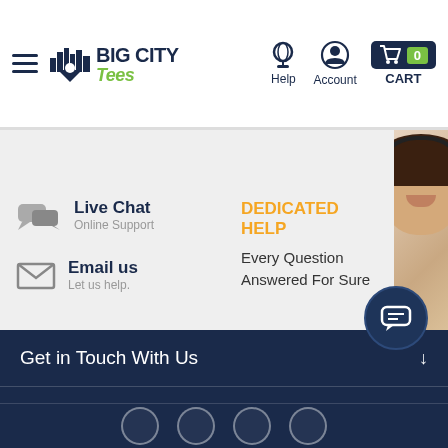[Figure (logo): Big City Tees logo with city skyline icon, bold dark blue text and green italic 'Tees']
Help
Account
0 CART
Live Chat
Online Support
Email us
Let us help.
DEDICATED HELP
Every Question
Answered For Sure
[Figure (photo): Smiling woman with headset, customer service representative]
Get in Touch With Us
Popular Products
Customer Service
About Company